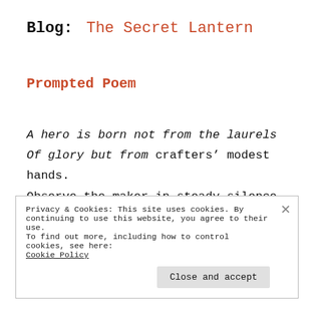Blog:  The Secret Lantern
Prompted Poem
A hero is born not from the laurels
Of glory but from crafters' modest hands.
Observe the maker in steady silence,
Weaving native branches from ancient lands.
Privacy & Cookies: This site uses cookies. By continuing to use this website, you agree to their use.
To find out more, including how to control cookies, see here: Cookie Policy
Close and accept